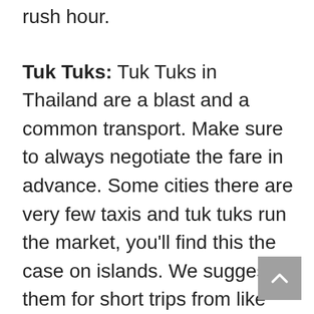rush hour.
Tuk Tuks: Tuk Tuks in Thailand are a blast and a common transport. Make sure to always negotiate the fare in advance. Some cities there are very few taxis and tuk tuks run the market, you'll find this the case on islands. We suggest them for short trips from like the Grand Palace to Wat Pho or similar.